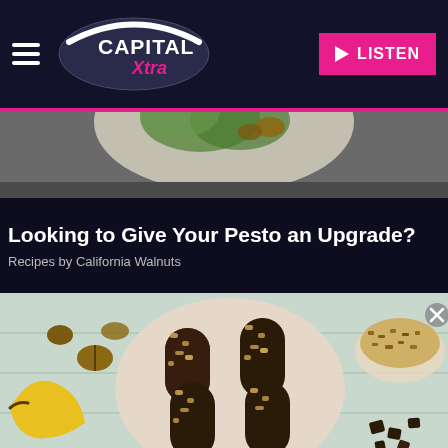Capital Xtra - LISTEN
[Figure (photo): Partial top food image showing a plate with salad and walnuts on a dark surface]
Looking to Give Your Pesto an Upgrade?
Recipes by California Walnuts
[Figure (photo): Chocolate-dipped frozen banana pops coated in chopped walnuts arranged on a round plate, with a whole banana, scattered walnuts, chocolate pieces, and a bowl of crushed walnuts on a light blue surface]